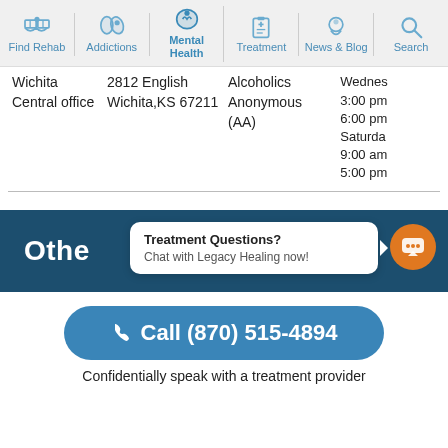[Figure (screenshot): Navigation bar with icons: Find Rehab, Addictions, Mental Health (active), Treatment, News & Blog, Search]
| Name | Address | Type | Hours |
| --- | --- | --- | --- |
| Wichita Central office | 2812 English Wichita,KS 67211 | Alcoholics Anonymous (AA) | Wednes 3:00 pm 6:00 pm Saturda 9:00 am 5:00 pm |
Othe
Treatment Questions?
Chat with Legacy Healing now!
Call (870) 515-4894
Confidentially speak with a treatment provider